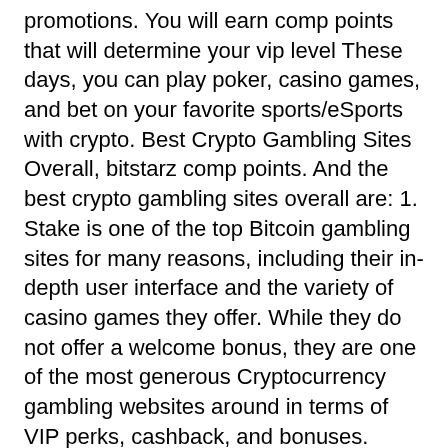promotions. You will earn comp points that will determine your vip level These days, you can play poker, casino games, and bet on your favorite sports/eSports with crypto. Best Crypto Gambling Sites Overall, bitstarz comp points. And the best crypto gambling sites overall are: 1. Stake is one of the top Bitcoin gambling sites for many reasons, including their in-depth user interface and the variety of casino games they offer. While they do not offer a welcome bonus, they are one of the most generous Cryptocurrency gambling websites around in terms of VIP perks, cashback, and bonuses.
Last week winners:
Break Da Bank - 357 bch
Atlantis - 272 bch
Dragon Palace - 703.1 usdt